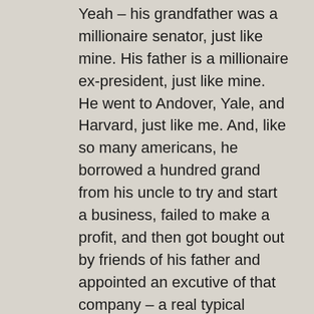Yeah – his grandfather was a millionaire senator, just like mine. His father is a millionaire ex-president, just like mine. He went to Andover, Yale, and Harvard, just like me. And, like so many americans, he borrowed a hundred grand from his uncle to try and start a business, failed to make a profit, and then got bought out by friends of his father and appointed an excutive of that company – a real typical american up-by-your-bootstraps story that warms all of our hearts.
Face it, Bob, W slid through the Vietnam war like a typical rich kid, and Kerry actually went there and put himself in harms way, and nothing you say can change that.